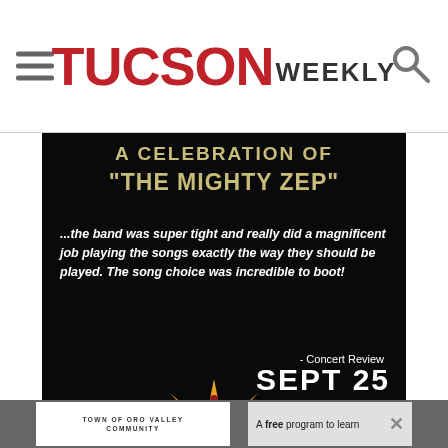TUCSON WEEKLY
[Figure (illustration): Advertisement for a Led Zeppelin tribute concert. Black background with text: 'A CELEBRATION OF "THE MIGHTY ZEP"' in bold yellow/gold letters, followed by an italic quote '...the band was super tight and really did a magnificent job playing the songs exactly the way they should be played. The song choice was incredible to boot!' attributed to '- Concert Review', and 'SEPT 25' in large white bold text. Fox Tucson Theatre logo at the bottom with star/sun graphic.]
TOWN OF ORO VALLEY COMMUNITY ... A free program to learn